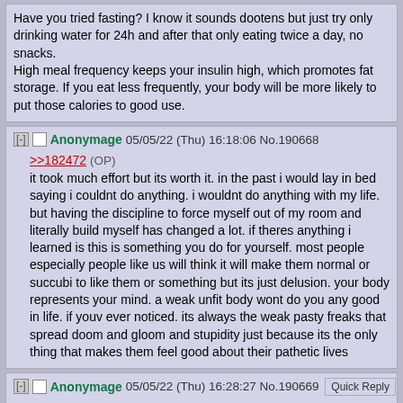Have you tried fasting? I know it sounds dootens but just try only drinking water for 24h and after that only eating twice a day, no snacks.
High meal frequency keeps your insulin high, which promotes fat storage. If you eat less frequently, your body will be more likely to put those calories to good use.
Anonymage 05/05/22 (Thu) 16:18:06 No.190668
>>182472 (OP)
it took much effort but its worth it. in the past i would lay in bed saying i couldnt do anything. i wouldnt do anything with my life. but having the discipline to force myself out of my room and literally build myself has changed a lot. if theres anything i learned is this is something you do for yourself. most people especially people like us will think it will make them normal or succubi to like them or something but its just delusion. your body represents your mind. a weak unfit body wont do you any good in life. if youv ever noticed. its always the weak pasty freaks that spread doom and gloom and stupidity just because its the only thing that makes them feel good about their pathetic lives
Anonymage 05/05/22 (Thu) 16:28:27 No.190669
>>189809
pushups till failure 5 sets of 20 is the goal every day for a month. then take a week or two off and repeat. recovery is important. being skinny but also weak wont make your body look good. ultimately being strong is what will give you an